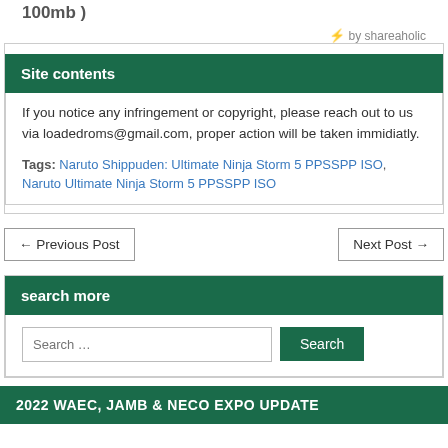100mb )
⚡ by shareaholic
Site contents
If you notice any infringement or copyright, please reach out to us via loadedroms@gmail.com, proper action will be taken immidiatly.
Tags: Naruto Shippuden: Ultimate Ninja Storm 5 PPSSPP ISO, Naruto Ultimate Ninja Storm 5 PPSSPP ISO
← Previous Post
Next Post →
search more
Search …
2022 WAEC, JAMB & NECO EXPO UPDATE